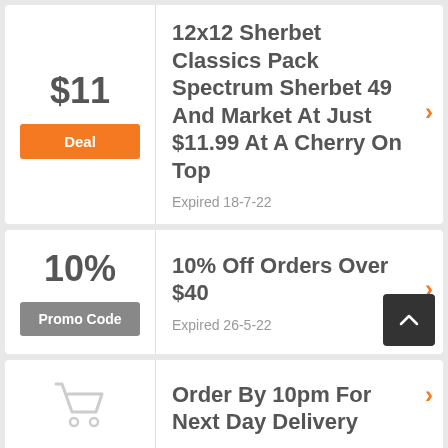$11
Deal
12x12 Sherbet Classics Pack Spectrum Sherbet 49 And Market At Just $11.99 At A Cherry On Top
Expired 18-7-22
10%
Promo Code
10% Off Orders Over $40
Expired 26-5-22
[Figure (illustration): Shopping cart icon (outline style, light gray)]
Order By 10pm For Next Day Delivery